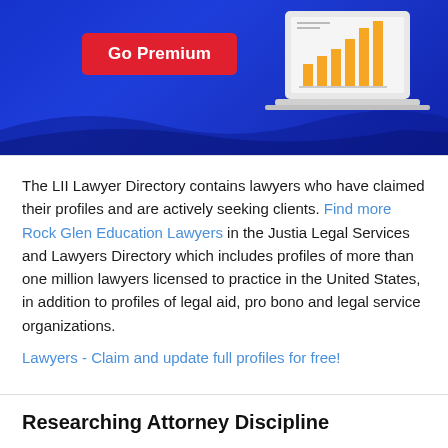[Figure (infographic): Blue banner with a red 'Go Premium' button on the left and a laptop graphic showing a bar chart on the right]
The LII Lawyer Directory contains lawyers who have claimed their profiles and are actively seeking clients. Find more Rock Glen Education Lawyers in the Justia Legal Services and Lawyers Directory which includes profiles of more than one million lawyers licensed to practice in the United States, in addition to profiles of legal aid, pro bono and legal service organizations.
Lawyers - Claim and update full profiles for free!
Researching Attorney Discipline
Find out whether an attorney has ever been disciplined,